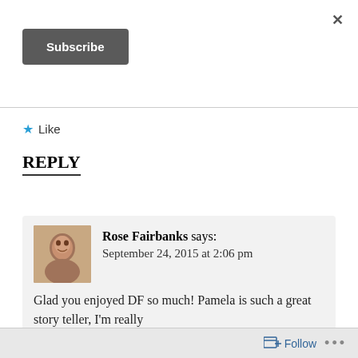×
Subscribe
★ Like
REPLY
Rose Fairbanks says: September 24, 2015 at 2:06 pm
Glad you enjoyed DF so much! Pamela is such a great story teller, I'm really
Follow  •••